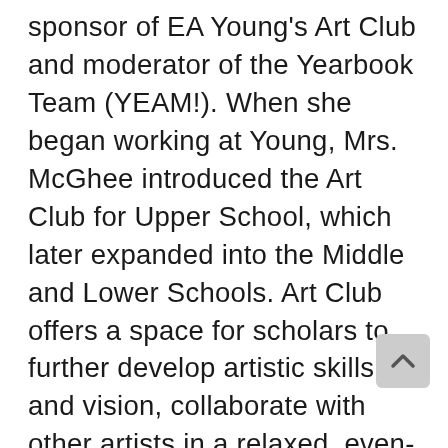sponsor of EA Young's Art Club and moderator of the Yearbook Team (YEAM!). When she began working at Young, Mrs. McGhee introduced the Art Club for Upper School, which later expanded into the Middle and Lower Schools. Art Club offers a space for scholars to further develop artistic skills and vision, collaborate with other artists in a relaxed, even-less-formal environment, and have the chance to socialize with their peers. To celebrate the end of each semester, the Art Club has a party featuring an art-themed cookie cake, now a beloved tradition. Each year, the Art Club program has expanded, now serving 5th through 12th grade scholars in Art Club: Jr. and Sr. In 2018, Mrs. McGhee took the mantle as the sponsor of EA Young's